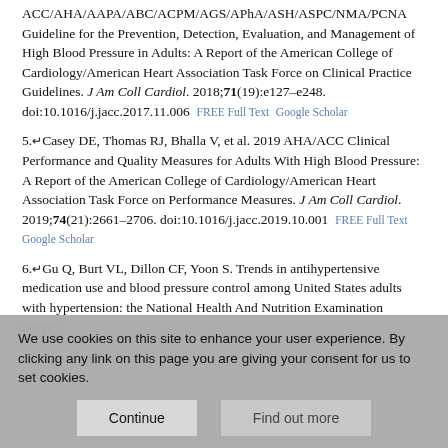ACC/AHA/AAPA/ABC/ACPM/AGS/APhA/ASH/ASPC/NMA/PCNA Guideline for the Prevention, Detection, Evaluation, and Management of High Blood Pressure in Adults: A Report of the American College of Cardiology/American Heart Association Task Force on Clinical Practice Guidelines. J Am Coll Cardiol. 2018;71(19):e127–e248. doi:10.1016/j.jacc.2017.11.006  FREE Full Text  Google Scholar
5. Casey DE, Thomas RJ, Bhalla V, et al. 2019 AHA/ACC Clinical Performance and Quality Measures for Adults With High Blood Pressure: A Report of the American College of Cardiology/American Heart Association Task Force on Performance Measures. J Am Coll Cardiol. 2019;74(21):2661–2706. doi:10.1016/j.jacc.2019.10.001  FREE Full Text  Google Scholar
6. Gu Q, Burt VL, Dillon CF, Yoon S. Trends in antihypertensive medication use and blood pressure control among United States adults with hypertension: the National Health And Nutrition Examination Survey,
We use cookies on this site to enhance your user experience. By clicking any link on this page you are giving your consent for us to set cookies.